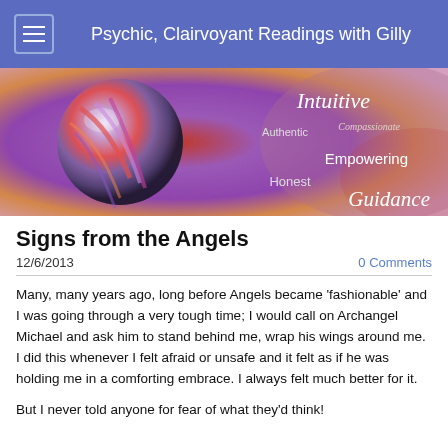Psychic, Clairvoyant Readings with Gilly
[Figure (photo): Banner image showing a reflective crystal ball with colorful abstract background. Text overlays on the right side read: Intuitive, Authentic, Compassionate, Empowering, Honest, Guidance.]
Signs from the Angels
12/6/2013   0 Comments
Many, many years ago, long before Angels became 'fashionable' and I was going through a very tough time; I would call on Archangel Michael and ask him to stand behind me, wrap his wings around me. I did this whenever I felt afraid or unsafe and it felt as if he was holding me in a comforting embrace. I always felt much better for it.
But I never told anyone for fear of what they'd think!